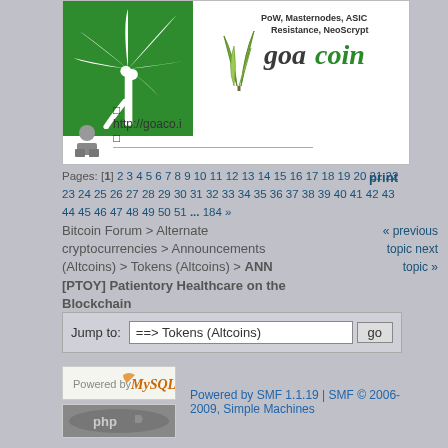[Figure (logo): Green square logo with white palm tree silhouette]
http://goaco.i
[Figure (logo): Goacoin banner with text: goacoin | PoW, Masternodes, ASIC Resistance, NeoScrypt]
Pages: [1] 2 3 4 5 6 7 8 9 10 11 12 13 14 15 16 17 18 19 20 21 22 23 24 25 26 27 28 29 30 31 32 33 34 35 36 37 38 39 40 41 42 43 44 45 46 47 48 49 50 51 ... 184 »   print
« previous topic next topic »
Bitcoin Forum > Alternate cryptocurrencies > Announcements (Altcoins) > Tokens (Altcoins) > ANN [PTOY] Patientory Healthcare on the Blockchain
Jump to: ===> Tokens (Altcoins)  go
[Figure (logo): MySQL logo badge]
[Figure (logo): PHP logo badge]
Powered by SMF 1.1.19 | SMF © 2006-2009, Simple Machines